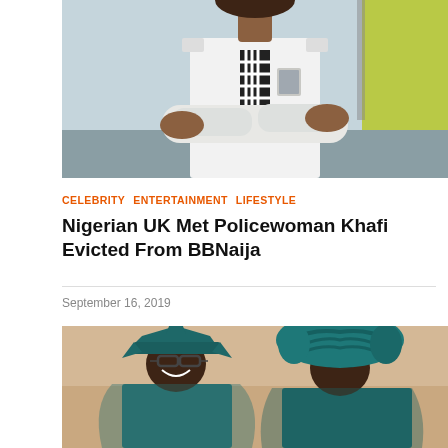[Figure (photo): Nigerian UK Metropolitan Police officer in white shirt with checkered tie, arms crossed, standing outdoors near a vehicle]
CELEBRITY  ENTERTAINMENT  LIFESTYLE
Nigerian UK Met Policewoman Khafi Evicted From BBNaija
September 16, 2019
[Figure (photo): Nigerian couple dressed in teal/green traditional attire; man wearing a pointed agbada hat and glasses, woman wearing an elaborate teal gele headwrap]